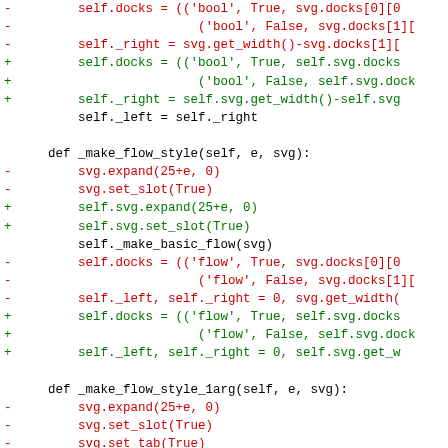Code diff showing changes to self.docks, self._right, self._left, _make_flow_style, _make_flow_style_1arg methods replacing svg.* calls with self.svg.* calls